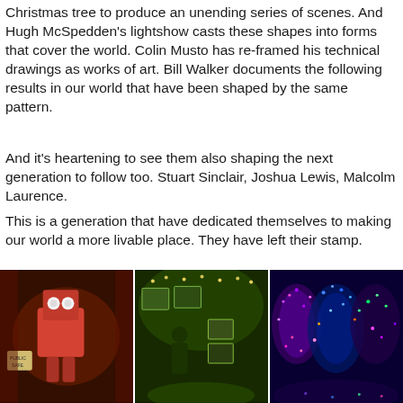Christmas tree to produce an unending series of scenes. And Hugh McSpedden's lightshow casts these shapes into forms that cover the world. Colin Musto has re-framed his technical drawings as works of art. Bill Walker documents the following results in our world that have been shaped by the same pattern.
And it's heartening to see them also shaping the next generation to follow too. Stuart Sinclair, Joshua Lewis, Malcolm Laurence.
This is a generation that have dedicated themselves to making our world a more livable place. They have left their stamp.
Let's hope that when god produced them, she didn't break the mould.
[Figure (photo): Three side-by-side photos: left shows a red robot figure in a reddish lit scene with a 'Public Safe' sign; center shows a person in a colorful gallery/exhibition space with green lighting and artwork on walls; right shows a brightly colored light display on trees with purple, blue and multicolored lights.]